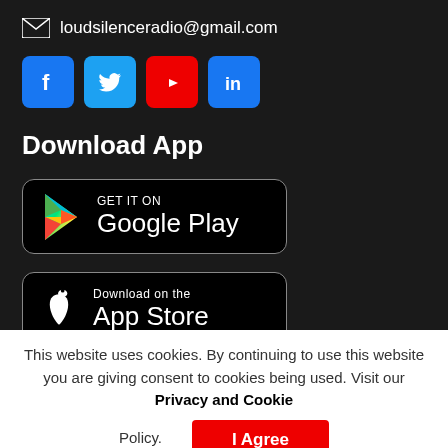loudsilenceradio@gmail.com
[Figure (infographic): Social media icon buttons: Facebook (blue), Twitter (blue), YouTube (red), LinkedIn (blue)]
Download App
[Figure (infographic): Google Play Store download badge with Play triangle logo]
[Figure (infographic): Apple App Store download badge with Apple logo]
This website uses cookies. By continuing to use this website you are giving consent to cookies being used. Visit our Privacy and Cookie Policy.
[Figure (infographic): I Agree red button]